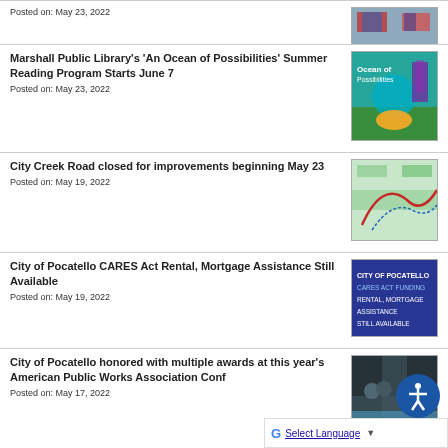Posted on: May 23, 2022
Marshall Public Library’s ‘An Ocean of Possibilities’ Summer Reading Program Starts June 7
Posted on: May 23, 2022
City Creek Road closed for improvements beginning May 23
Posted on: May 19, 2022
City of Pocatello CARES Act Rental, Mortgage Assistance Still Available
Posted on: May 19, 2022
City of Pocatello honored with multiple awards at this year’s American Public Works Association Conf
Posted on: May 17, 2022